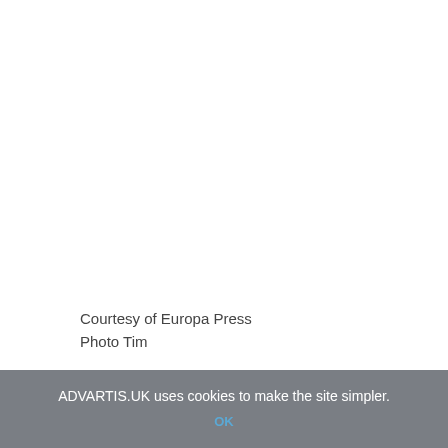[Figure (photo): Large white/blank image area taking up most of the page]
Courtesy of Europa Press
Photo Tim
ADVARTIS.UK uses cookies to make the site simpler.
OK